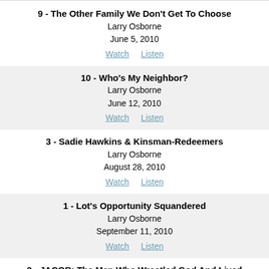9 - The Other Family We Don't Get To Choose
Larry Osborne
June 5, 2010
Watch  Listen
10 - Who's My Neighbor?
Larry Osborne
June 12, 2010
Watch  Listen
3 - Sadie Hawkins & Kinsman-Redeemers
Larry Osborne
August 28, 2010
Watch  Listen
1 - Lot's Opportunity Squandered
Larry Osborne
September 11, 2010
Watch  Listen
3 - JACOB: The Man Who Wrestled God And Lived
To brag About It